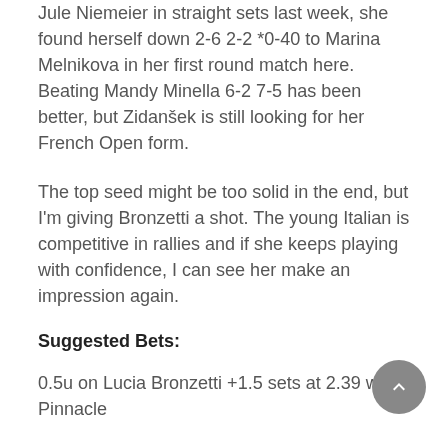Jule Niemeier in straight sets last week, she found herself down 2-6 2-2 *0-40 to Marina Melnikova in her first round match here. Beating Mandy Minella 6-2 7-5 has been better, but Zidanšek is still looking for her French Open form.
The top seed might be too solid in the end, but I'm giving Bronzetti a shot. The young Italian is competitive in rallies and if she keeps playing with confidence, I can see her make an impression again.
Suggested Bets:
0.5u on Lucia Bronzetti +1.5 sets at 2.39 with Pinnacle